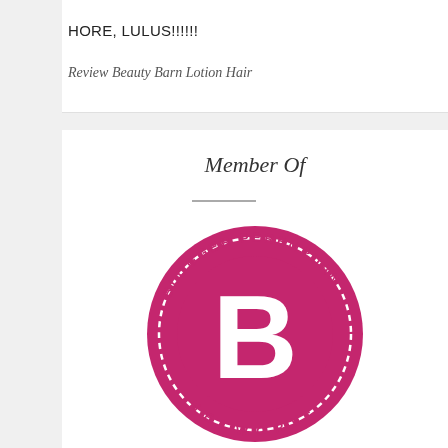HORE, LULUS!!!!!!
Review Beauty Barn Lotion Hair
Member Of
[Figure (logo): Blogger Perempuan Network circular logo with a large white 'B' on a deep pink/magenta circle, surrounded by dashed ring with text 'BLOGGER PEREMPUAN' arched at top and 'NETWORK' at bottom in magenta.]